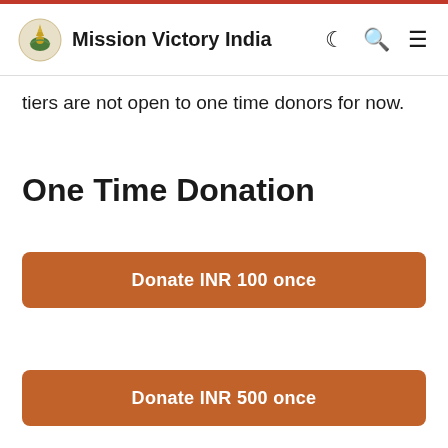Mission Victory India
tiers are not open to one time donors for now.
One Time Donation
[Figure (other): Orange button labeled 'Donate INR 100 once']
[Figure (other): Orange button labeled 'Donate INR 500 once']